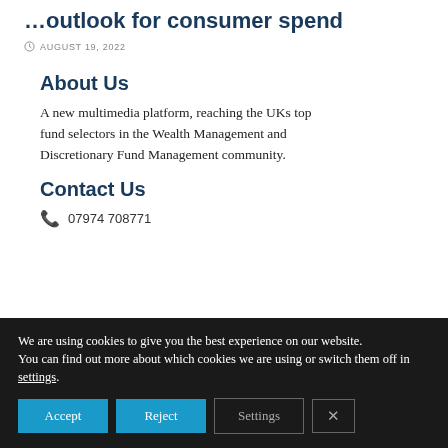…outlook for consumer spend
AUGUST 19, 2022
About Us
A new multimedia platform, reaching the UKs top fund selectors in the Wealth Management and Discretionary Fund Management community.
Contact Us
07974 708771
We are using cookies to give you the best experience on our website.
You can find out more about which cookies we are using or switch them off in settings.